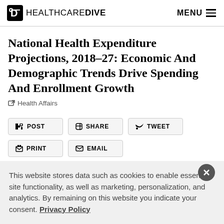HEALTHCARE DIVE | MENU
National Health Expenditure Projections, 2018–27: Economic And Demographic Trends Drive Spending And Enrollment Growth
Health Affairs
POST | SHARE | TWEET | PRINT | EMAIL
This website stores data such as cookies to enable essential site functionality, as well as marketing, personalization, and analytics. By remaining on this website you indicate your consent. Privacy Policy